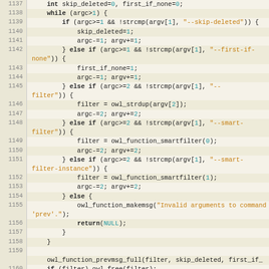[Figure (screenshot): Source code listing in C, lines 1137-1163, showing a function with argument parsing logic for --skip-deleted, --first-if-none, --filter, --smart-filter, and --smart-filter-instance options, with calls to owl_function_smartfilter, owl_function_makemsg, owl_function_prevmsg_full, owl_free, and return statements.]